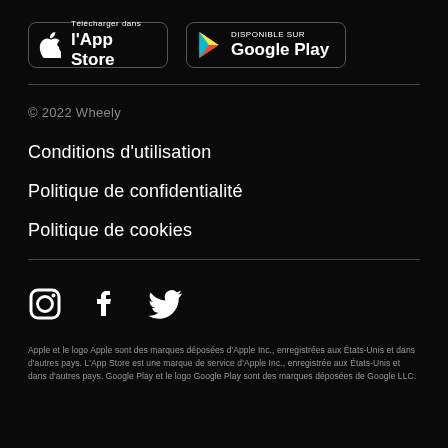[Figure (logo): App Store and Google Play download badges]
© 2022 Wheely
Conditions d'utilisation
Politique de confidentialité
Politique de cookies
[Figure (logo): Instagram, Facebook, and Twitter social media icons]
Apple et le logo Apple sont des marques déposées d'Apple Inc., enregistrées aux États-Unis et dans d'autres pays. L'App Store est une marque de service d'Apple Inc., enregistrée aux États-Unis et dans d'autres pays. Google Play et le logo Google Play sont des marques déposées de Google LLC.